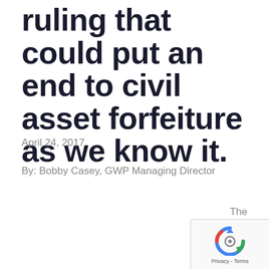ruling that could put an end to civil asset forfeiture as we know it.
April 24, 2017
By: Bobby Casey, GWP Managing Director
The
[Figure (logo): reCAPTCHA badge with rotating arrows icon and Privacy - Terms text]